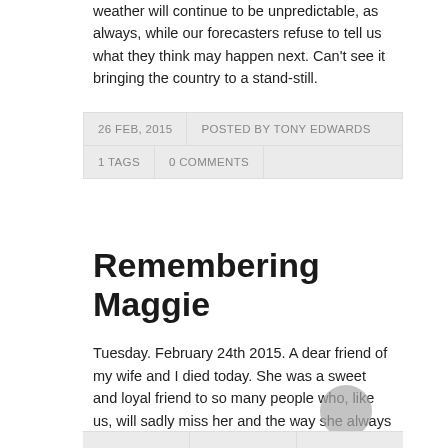weather will continue to be unpredictable, as always, while our forecasters refuse to tell us what they think may happen next. Can't see it bringing the country to a stand-still.
| 26 FEB, 2015 | POSTED BY TONY EDWARDS |
| --- | --- |
| 1 TAGS | 0 COMMENTS |
Remembering Maggie
Tuesday. February 24th 2015. A dear friend of my wife and I died today. She was a sweet and loyal friend to so many people who, like us, will sadly miss her and the way she always seemed to take the world in her stride as the head of the Hanley family. She now knows